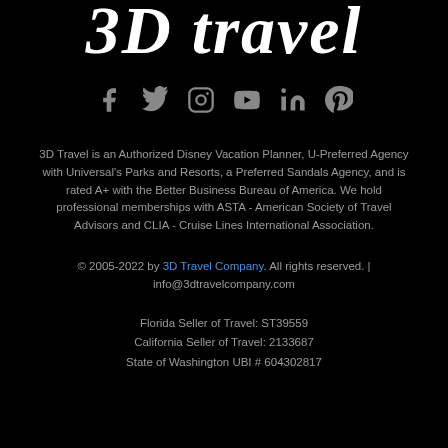[Figure (logo): 3D Travel cursive logo text in white on black background]
[Figure (infographic): Social media icons: Facebook, Twitter, Instagram, YouTube, LinkedIn, Pinterest in gray]
3D Travel is an Authorized Disney Vacation Planner, U-Preferred Agency with Universal's Parks and Resorts, a Preferred Sandals Agency, and is rated A+ with the Better Business Bureau of America. We hold professional memberships with ASTA - American Society of Travel Advisors and CLIA - Cruise Lines International Association.
© 2005-2022 by 3D Travel Company. All rights reserved. | info@3dtravelcompany.com
Florida Seller of Travel: ST39559
California Seller of Travel: 2133687
State of Washington UBI # 604302817